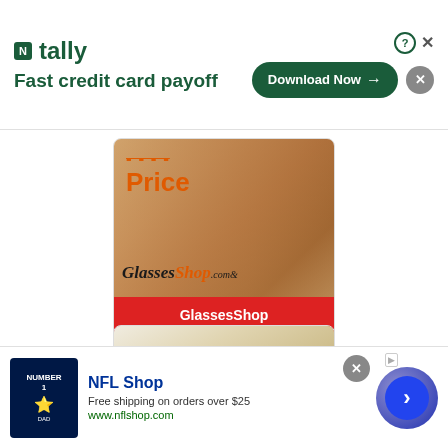[Figure (screenshot): Tally app advertisement banner with green logo and 'Fast credit card payoff' tagline, Download Now button]
[Figure (screenshot): GlassesShop.com advertisement showing 'Best Price' text over background image with glasses, red CTA button reading 'GlassesShop Get Special Offer']
[Figure (screenshot): Advertisement banner showing smiling blonde woman holding colorful flip flops]
[Figure (screenshot): NFL Shop advertisement banner showing Dallas Cowboys jersey, text 'NFL Shop', 'Free shipping on orders over $25', 'www.nflshop.com', with navigation arrow button]